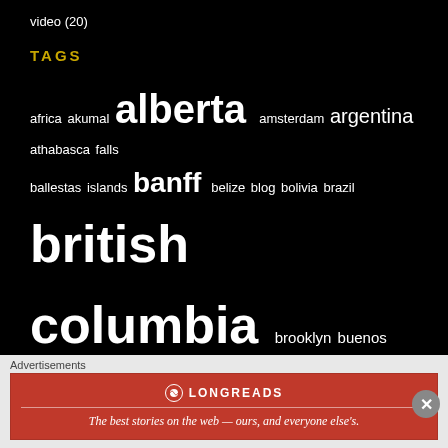video (20)
TAGS
africa akumal alberta amsterdam argentina athabasca falls ballestas islands banff belize blog bolivia brazil british columbia brooklyn buenos aires canada canadian rockies caribbean carnival CDMX central america central mexico Chapultepec chiapas chichen itza chile chinatown colca canyon coronavirus cozumel cuba cusco ek balam ellora & ajanta enchanted forest europe florence Florida fraser valley goa guanajuato guatemala guides havana hiking
Advertisements
[Figure (infographic): Longreads advertisement banner: red background with Longreads logo and tagline 'The best stories on the web — ours, and everyone else's.']